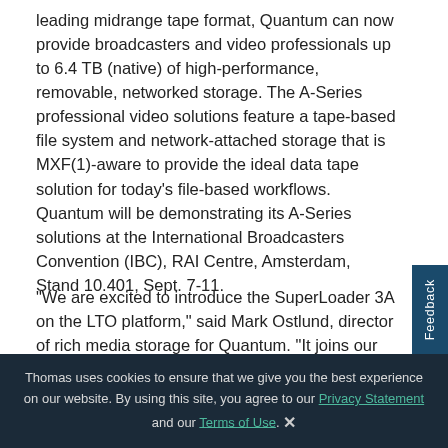leading midrange tape format, Quantum can now provide broadcasters and video professionals up to 6.4 TB (native) of high-performance, removable, networked storage. The A-Series professional video solutions feature a tape-based file system and network-attached storage that is MXF(1)-aware to provide the ideal data tape solution for today's file-based workflows. Quantum will be demonstrating its A-Series solutions at the International Broadcasters Convention (IBC), RAI Centre, Amsterdam, Stand 10.401, Sept. 7-11.
"We are excited to introduce the SuperLoader 3A on the LTO platform," said Mark Ostlund, director of rich media storage for Quantum. "It joins our multi-award winning A-Series professional video product line, which our customers have embraced as complete, scalable archive solutions that enable file-based workflows while greatly simplifying storage of their
Thomas uses cookies to ensure that we give you the best experience on our website. By using this site, you agree to our Privacy Statement and our Terms of Use.